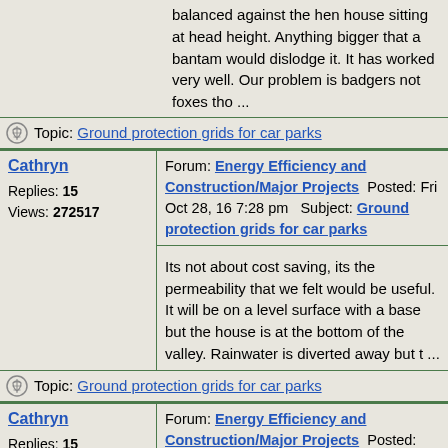balanced against the hen house sitting at head height. Anything bigger that a bantam would dislodge it. It has worked very well. Our problem is badgers not foxes tho ...
Topic: Ground protection grids for car parks
Cathryn
Replies: 15
Views: 272517
Forum: Energy Efficiency and Construction/Major Projects Posted: Fri Oct 28, 16 7:28 pm Subject: Ground protection grids for car parks
Its not about cost saving, its the permeability that we felt would be useful. It will be on a level surface with a base but the house is at the bottom of the valley. Rainwater is diverted away but t ...
Topic: Ground protection grids for car parks
Cathryn
Replies: 15
Views: 272517
Forum: Energy Efficiency and Construction/Major Projects Posted: Thu Oct 27, 16 9:10 pm Subject: Ground protection grids for car